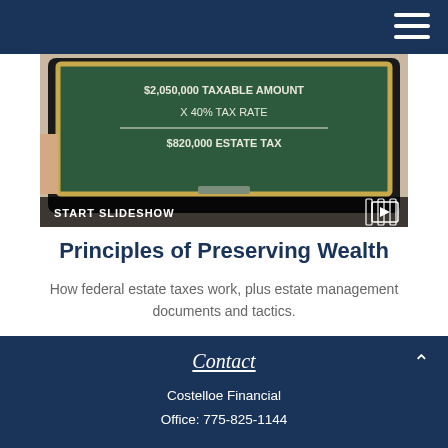[Figure (screenshot): A tablet showing a chalkboard with estate tax calculation: $2,050,000 TAXABLE AMOUNT × 40% TAX RATE = $820,000 ESTATE TAX. Below the image is an overlay reading START SLIDESHOW with a slideshow icon.]
Principles of Preserving Wealth
How federal estate taxes work, plus estate management documents and tactics.
Contact
Costelloe Financial
Office: 775-825-1144